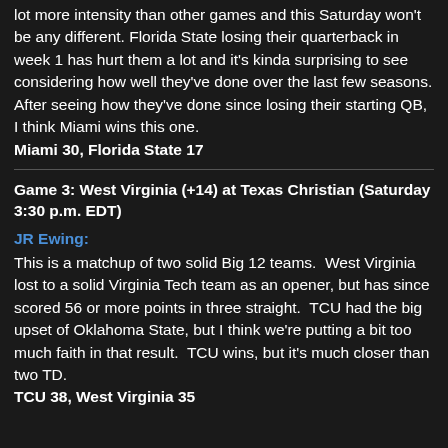lot more intensity than other games and this Saturday won't be any different. Florida State losing their quarterback in week 1 has hurt them a lot and it's kinda surprising to see considering how well they've done over the last few seasons. After seeing how they've done since losing their starting QB, I think Miami wins this one.
Miami 30, Florida State 17
Game 3: West Virginia (+14) at Texas Christian (Saturday 3:30 p.m. EDT)
JR Ewing:
This is a matchup of two solid Big 12 teams.  West Virginia lost to a solid Virginia Tech team as an opener, but has since scored 56 or more points in three straight.  TCU had the big upset of Oklahoma State, but I think we're putting a bit too much faith in that result.  TCU wins, but it's much closer than two TD.
TCU 38, West Virginia 35